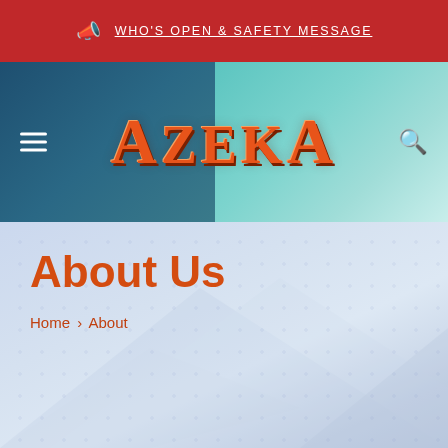WHO'S OPEN & SAFETY MESSAGE
[Figure (logo): Azeka shopping center logo with stylized text in orange/red with gold outline on a teal and blue background header]
About Us
Home » About